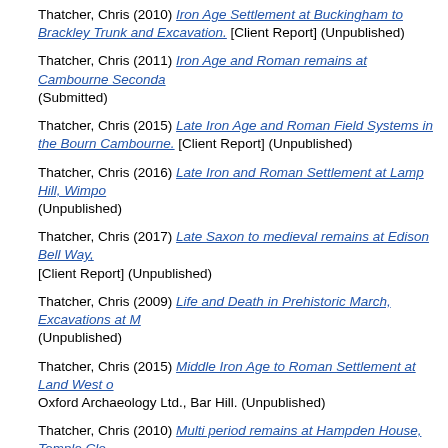Thatcher, Chris (2010) Iron Age Settlement at Buckingham to Brackley Trunk and Excavation. [Client Report] (Unpublished)
Thatcher, Chris (2011) Iron Age and Roman remains at Cambourne Seconda (Submitted)
Thatcher, Chris (2015) Late Iron Age and Roman Field Systems in the Bourn Cambourne. [Client Report] (Unpublished)
Thatcher, Chris (2016) Late Iron and Roman Settlement at Lamp Hill, Wimpo (Unpublished)
Thatcher, Chris (2017) Late Saxon to medieval remains at Edison Bell Way, [Client Report] (Unpublished)
Thatcher, Chris (2009) Life and Death in Prehistoric March, Excavations at M (Unpublished)
Thatcher, Chris (2015) Middle Iron Age to Roman Settlement at Land West o Oxford Archaeology Ltd., Bar Hill. (Unpublished)
Thatcher, Chris (2010) Multi period remains at Hampden House, Temple Clo.
Thatcher, Chris (2012) Prehistoric and Roman Remains at Land West of Irth (Unpublished)
Thatcher, Chris (2006) Roman Enclosures at Nos 6 & 8 Earith Road, Willingh Evaluation. [Client Report] (Unpublished)
Thatcher, Chris (2006) Roman Settlement at Grendon Underwood, The Harc Buckinghamshire: An Archaeological Evaluation. [Client Report] (Unpublishe